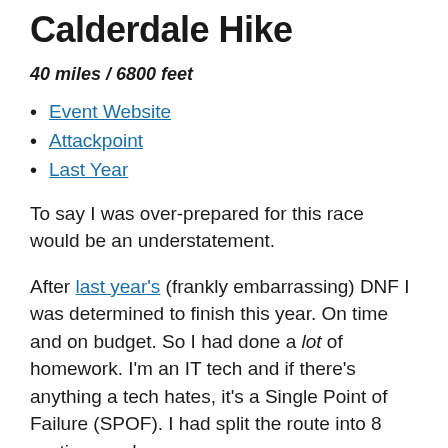Calderdale Hike
40 miles / 6800 feet
Event Website
Attackpoint
Last Year
To say I was over-prepared for this race would be an understatement.
After last year's (frankly embarrassing) DNF I was determined to finish this year. On time and on budget. So I had done a lot of homework. I'm an IT tech and if there's anything a tech hates, it's a Single Point of Failure (SPOF). I had split the route into 8 sections and